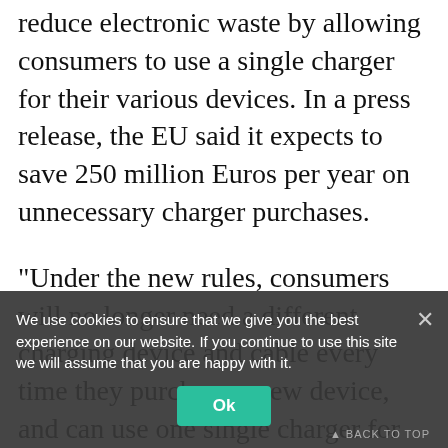reduce electronic waste by allowing consumers to use a single charger for their various devices. In a press release, the EU said it expects to save 250 million Euros per year on unnecessary charger purchases.
"Under the new rules, consumers will no longer need a different charging device and cable every time they purchase a new device, and can use one single charger for all of their small and medium-sized portable electronic devices," wrote EU press officer Yasmina Yakimova. The proposed law still needs to be approved by the EU parliament and Council, but is expected to receive approval later this year. After that, manufacturers w
We use cookies to ensure that we give you the best experience on our website. If you continue to use this site we will assume that you are happy with it.
Ok